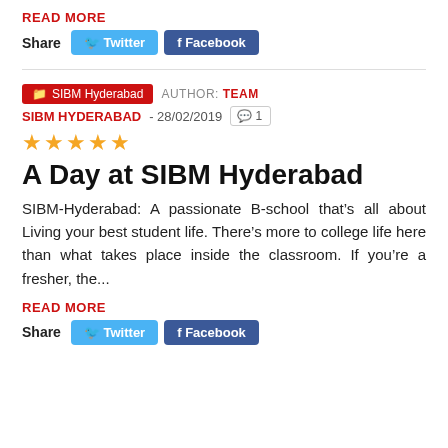READ MORE
Share  Twitter  Facebook
SIBM Hyderabad  AUTHOR: TEAM SIBM HYDERABAD - 28/02/2019  1
[Figure (other): Five gold star rating]
A Day at SIBM Hyderabad
SIBM-Hyderabad: A passionate B-school that’s all about Living your best student life. There’s more to college life here than what takes place inside the classroom. If you’re a fresher, the...
READ MORE
Share  Twitter  Facebook